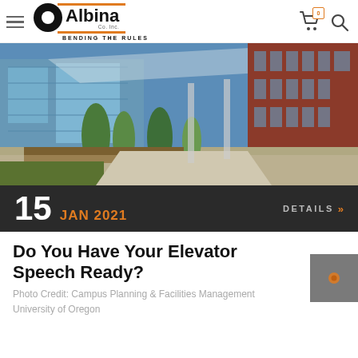Albina Co. Inc. — BENDING THE RULES
[Figure (photo): Exterior architectural photo showing a modern glass building and a brick building, separated by a tree-lined walkway and road, taken on a sunny autumn day at the University of Oregon.]
15 JAN 2021   DETAILS »
Do You Have Your Elevator Speech Ready?
Photo Credit: Campus Planning & Facilities Management University of Oregon